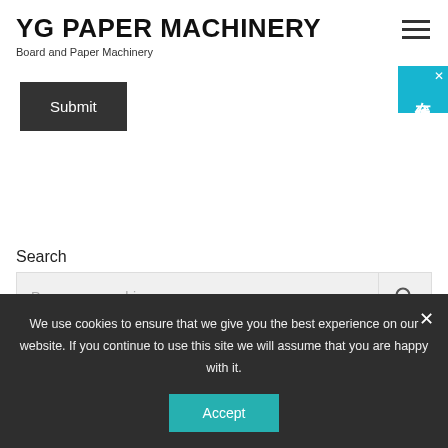YG PAPER MACHINERY
Board and Paper Machinery
Submit
[Figure (other): Online chat widget with Chinese characters 在线咨询 (Online Consultation) on teal background with close X button]
Search
Paper cup machine
We use cookies to ensure that we give you the best experience on our website. If you continue to use this site we will assume that you are happy with it.
Accept